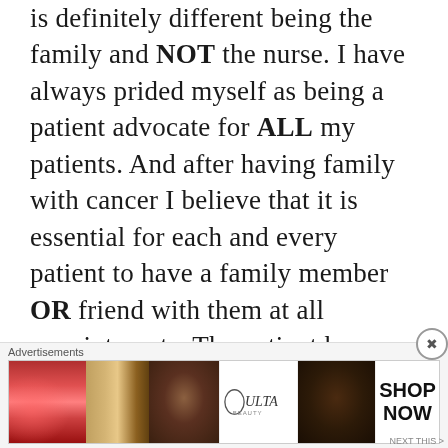is definitely different being the family and NOT the nurse. I have always prided myself as being a patient advocate for ALL my patients. And after having family with cancer I believe that it is essential for each and every patient to have a family member OR friend with them at all appointments. The patient has so much going through their head that they can not comprehend everything that is being thrown at them. I truly do not know how patients without family or friends keep everything straight i
[Figure (screenshot): Ulta Beauty advertisement banner with makeup-themed images (lips, brush, eye, Ulta logo, eye, SHOP NOW)]